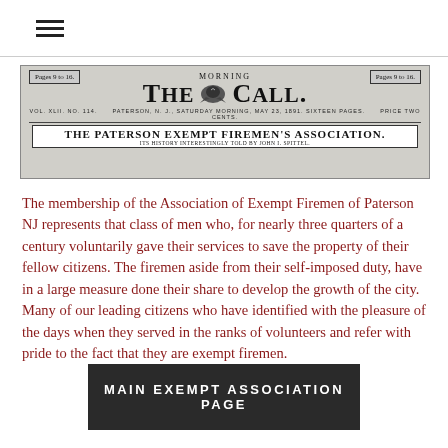[Figure (other): Newspaper masthead image for 'The Morning Call' featuring a banner headline 'THE PATERSON EXEMPT FIREMEN'S ASSOCIATION. ITS HISTORY INTERESTINGLY TOLD BY JOHN I. SPITTEL.']
The membership of the Association of Exempt Firemen of Paterson NJ represents that class of men who, for nearly three quarters of a century voluntarily gave their services to save the property of their fellow citizens. The firemen aside from their self-imposed duty, have in a large measure done their share to develop the growth of the city. Many of our leading citizens who have identified with the pleasure of the days when they served in the ranks of volunteers and refer with pride to the fact that they are exempt firemen.
MAIN EXEMPT ASSOCIATION PAGE